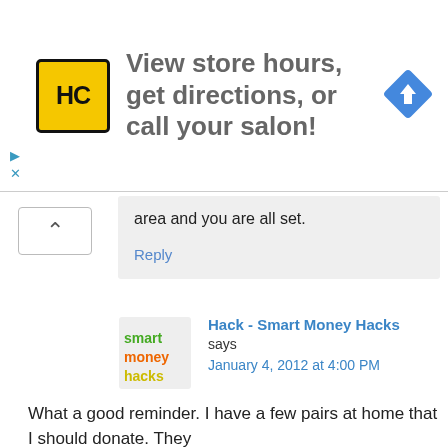[Figure (infographic): Advertisement banner: HC salon logo (yellow square with HC in black), text 'View store hours, get directions, or call your salon!', blue diamond navigation icon on the right. Small blue play and X close buttons on the left.]
area and you are all set.
Reply
[Figure (logo): Smart Money Hacks logo: green/orange/yellow text on white background in a square]
Hack - Smart Money Hacks says
January 4, 2012 at 4:00 PM
What a good reminder. I have a few pairs at home that I should donate. They